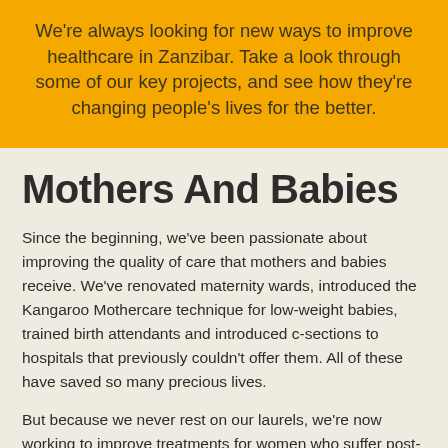We're always looking for new ways to improve healthcare in Zanzibar. Take a look through some of our key projects, and see how they're changing people's lives for the better.
Mothers And Babies
Since the beginning, we've been passionate about improving the quality of care that mothers and babies receive. We've renovated maternity wards, introduced the Kangaroo Mothercare technique for low-weight babies, trained birth attendants and introduced c-sections to hospitals that previously couldn't offer them. All of these have saved so many precious lives.
But because we never rest on our laurels, we're now working to improve treatments for women who suffer post-partum haemorrhages – a leading cause of death for mothers in